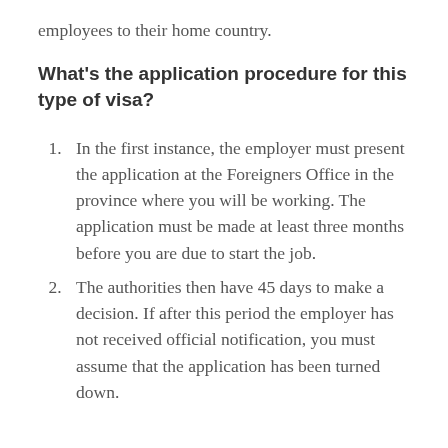employees to their home country.
What's the application procedure for this type of visa?
In the first instance, the employer must present the application at the Foreigners Office in the province where you will be working. The application must be made at least three months before you are due to start the job.
The authorities then have 45 days to make a decision. If after this period the employer has not received official notification, you must assume that the application has been turned down.